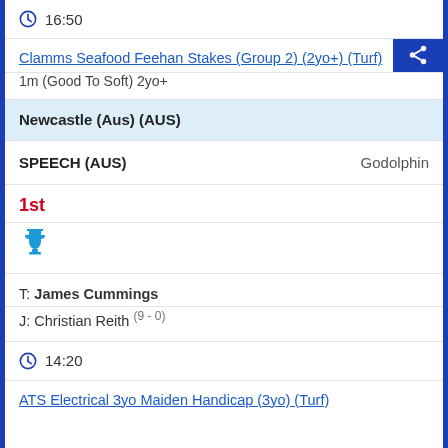16:50
Clamms Seafood Feehan Stakes (Group 2) (2yo+) (Turf)
1m (Good To Soft) 2yo+
Newcastle (Aus) (AUS)
SPEECH (AUS)   Godolphin
1st
[Figure (illustration): Blue trophy icon]
T: James Cummings
J: Christian Reith (9 - 0)
14:20
ATS Electrical 3yo Maiden Handicap (3yo) (Turf)